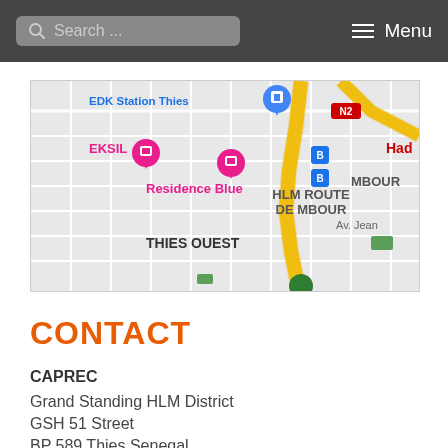Search ... Menu
[Figure (map): Google Maps screenshot showing Thies, Senegal area with labels: EDK Station Thies, EKSIL, Residence Blue, HLM ROUTE DE MBOUR, MBOUR, THIES OUEST, N2, Av. Jean, Had. Pink location markers visible, yellow roads, bus stop icons.]
CONTACT
CAPREC
Grand Standing HLM District
GSH 51 Street
BP 589 Thies Senegal